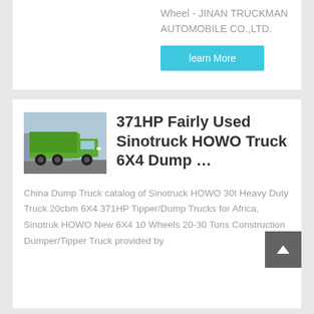Wheel - JINAN TRUCKMAN AUTOMOBILE CO.,LTD.
learn More
[Figure (photo): Green Sinotruck HOWO dump truck parked outdoors]
371HP Fairly Used Sinotruck HOWO Truck 6X4 Dump …
China Dump Truck catalog of Sinotruck HOWO 30t Heavy Duty Truck 20cbm 6X4 371HP Tipper/Dump Trucks for Africa, Sinotruk HOWO New 6X4 10 Wheels 20-30 Tons Construction Dumper/Tipper Truck provided by